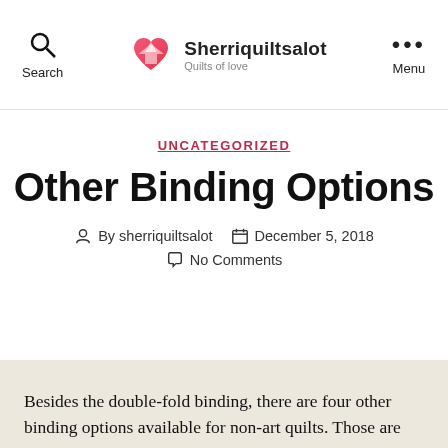Search  Sherriquiltsalot  Menu
UNCATEGORIZED
Other Binding Options
By sherriquiltsalot   December 5, 2018   No Comments
Besides the double-fold binding, there are  four other binding options available for non-art quilts. Those are the knife-edge finish, prairie points, single-fold binding, and bias binding. It is…